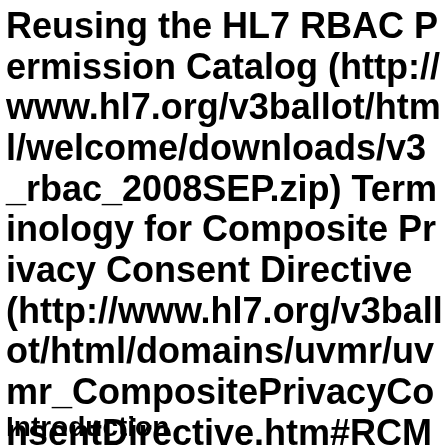Reusing the HL7 RBAC Permission Catalog (http://www.hl7.org/v3ballot/html/welcome/downloads/v3_rbac_2008SEP.zip) Terminology for Composite Privacy Consent Directive (http://www.hl7.org/v3ballot/html/domains/uvmr/uvmr_CompositePrivacyConsentDirective.htm#RCMR_DO000010UV-Privacyconsent-ic)
Introduction